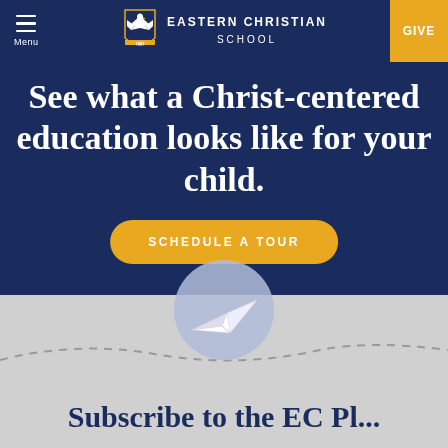Eastern Christian School | Menu | GIVE
See what a Christ-centered education looks like for your child.
SCHEDULE A TOUR
[Figure (illustration): Paper airplane icon inside a light blue circle, with a dashed curved path trailing behind it, on a light gray background]
Subscribe to the EC Pl...